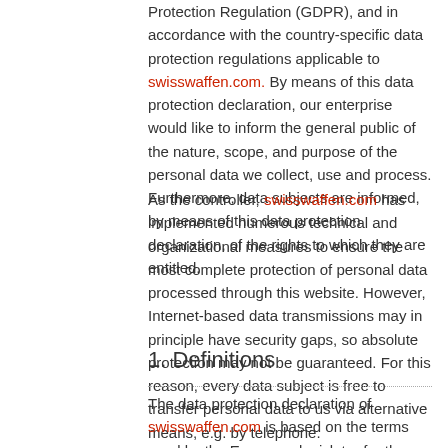Protection Regulation (GDPR), and in accordance with the country-specific data protection regulations applicable to swisswaffen.com. By means of this data protection declaration, our enterprise would like to inform the general public of the nature, scope, and purpose of the personal data we collect, use and process. Furthermore, data subjects are informed, by means of this data protection declaration, of the rights to which they are entitled.
As the controller, swisswaffen.com has implemented numerous technical and organizational measures to ensure the most complete protection of personal data processed through this website. However, Internet-based data transmissions may in principle have security gaps, so absolute protection may not be guaranteed. For this reason, every data subject is free to transfer personal data to us via alternative means, e.g. by telephone.
1. Definitions
The data protection declaration of swisswaffen.com is based on the terms used by the European legislator for the adoption of the General Data Protection Regulation (GDPR). Our data protection declaration should be legible and understandable for the general public, as well as...